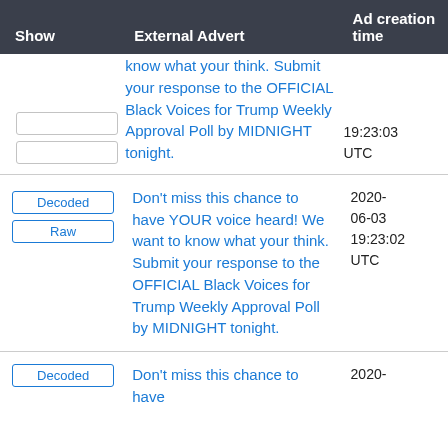| Show | External Advert | Ad creation time |
| --- | --- | --- |
| [Decoded][Raw] | know what your think. Submit your response to the OFFICIAL Black Voices for Trump Weekly Approval Poll by MIDNIGHT tonight. | 19:23:03 UTC |
| [Decoded][Raw] | Don't miss this chance to have YOUR voice heard! We want to know what your think. Submit your response to the OFFICIAL Black Voices for Trump Weekly Approval Poll by MIDNIGHT tonight. | 2020-06-03 19:23:02 UTC |
| [Decoded] | Don't miss this chance to have | 2020- |